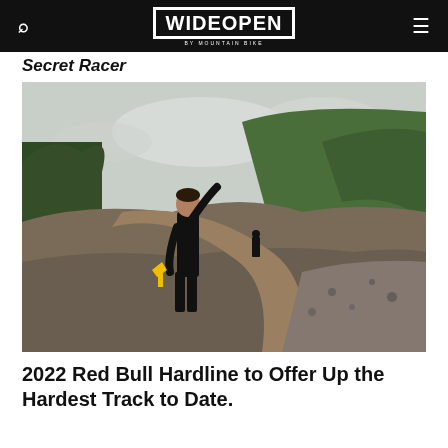WIDE OPEN
Secret Racer
[Figure (photo): A man in black clothing standing on a mountain bike trail under construction, gesturing upward with one hand and holding a yellow tool in the other. Another person in black stands further back on the trail. Green forested hillside and rocky terrain in background under overcast sky.]
2022 Red Bull Hardline to Offer Up the Hardest Track to Date.